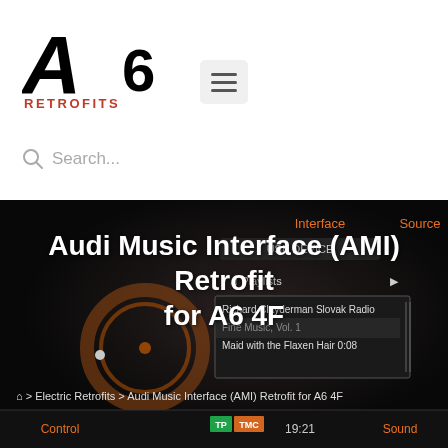[Figure (logo): A6 Retrofits logo with large italic A6 text and RETROFITS in red below]
[Figure (other): Hamburger menu button with three horizontal lines]
Search...
[Figure (screenshot): Audi car infotainment screen showing Interface and Source options with USB Device, Playlists, and music tracks including Richard Clayderman Slovak Radio Fine Music Vol 1 and Maid with the Flaxen Hair 0:08, Control/TMC 19:21/Sound at the bottom]
Audi Music Interface (AMI) Retrofit for A6 4F
Home > Electric Retrofits > Audi Music Interface (AMI) Retrofit for A6 4F